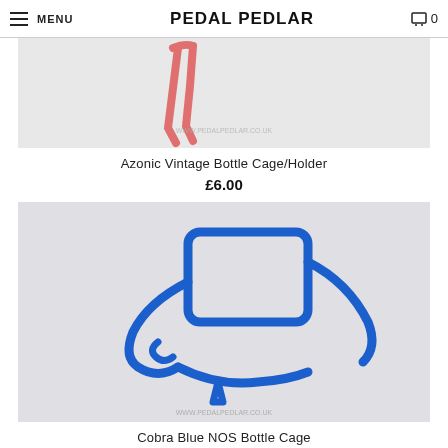MENU | PEDAL PEDLAR | 0
[Figure (photo): Azonic vintage pink/red bottle cage/holder on light grey background with www.pedalpedlar.co.uk watermark]
Azonic Vintage Bottle Cage/Holder
£6.00
[Figure (photo): Cobra blue NOS bottle cage on light grey background with www.pedalpedlar.co.uk watermark]
Cobra Blue NOS Bottle Cage
£15.00